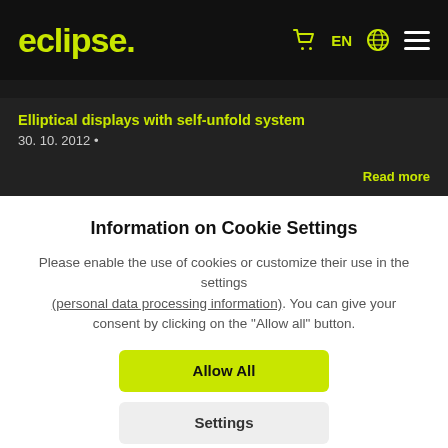eclipse. [cart icon] EN [globe icon] [menu icon]
Elliptical displays with self-unfold system
30. 10. 2012 •
Read more
Information on Cookie Settings
Please enable the use of cookies or customize their use in the settings (personal data processing information). You can give your consent by clicking on the "Allow all" button.
Allow All
Settings